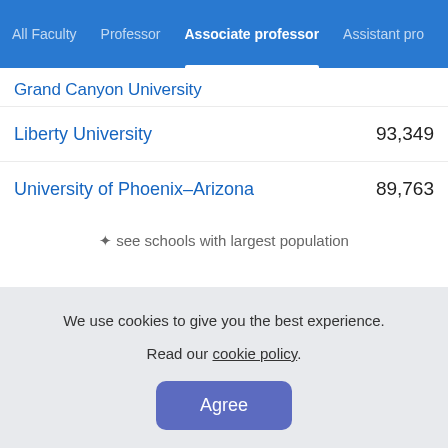All Faculty | Professor | Associate professor | Assistant pro
Grand Canyon University
Liberty University  93,349
University of Phoenix–Arizona  89,763
✦ see schools with largest population
We use cookies to give you the best experience. Read our cookie policy. Agree